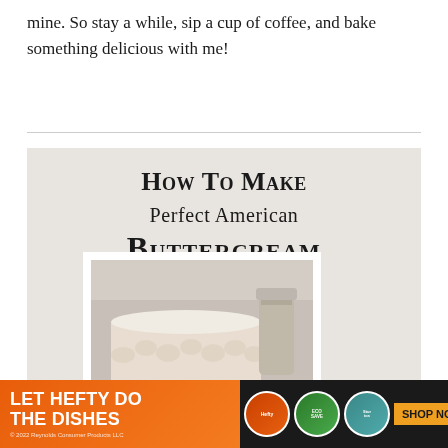mine. So stay a while, sip a cup of coffee, and bake something delicious with me!
[Figure (illustration): Recipe card image for 'How To Make Perfect American Buttercream' with a gray-beige background and a photo of a frosted cake layer with piped buttercream swirls and a jar in the background.]
[Figure (photo): Advertisement banner: LET HEFTY DO THE DISHES - orange background with product circles (Hefty, EcoSave, and another product) and a SHOP NOW button.]